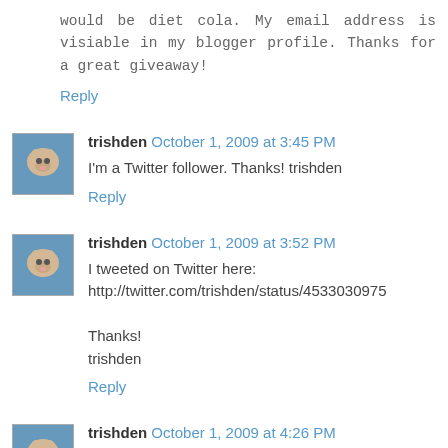would be diet cola. My email address is visiable in my blogger profile. Thanks for a great giveaway!
Reply
trishden October 1, 2009 at 3:45 PM
I'm a Twitter follower. Thanks! trishden
Reply
trishden October 1, 2009 at 3:52 PM
I tweeted on Twitter here: http://twitter.com/trishden/status/4533030975

Thanks!
trishden
Reply
trishden October 1, 2009 at 4:26 PM